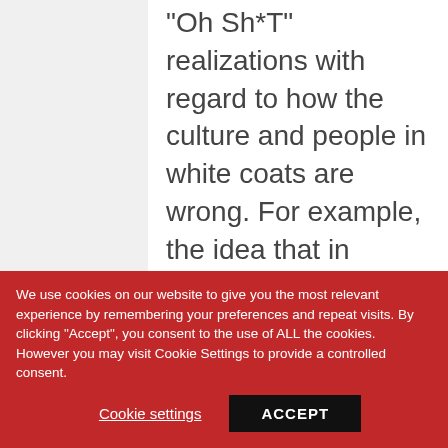"Oh Sh*T" realizations with regard to how the culture and people in white coats are wrong. For example, the idea that in
We use cookies on our website to give you the most relevant experience by remembering your preferences and repeat visits. By clicking "Accept", you consent to the use of ALL the cookies. However you may visit Cookie Settings to provide a controlled consent.